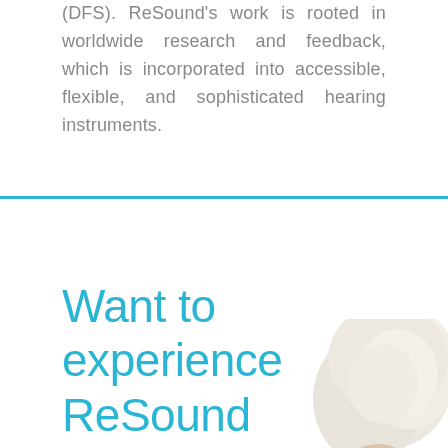(DFS). ReSound's work is rooted in worldwide research and feedback, which is incorporated into accessible, flexible, and sophisticated hearing instruments.
[Figure (illustration): Decorative horizontal cyan/teal divider line separating two sections of the page]
Want to experience ReSound
[Figure (photo): Partial view of an elderly person with white hair, shown from the back/side of the head, positioned in the bottom-right corner of the page]